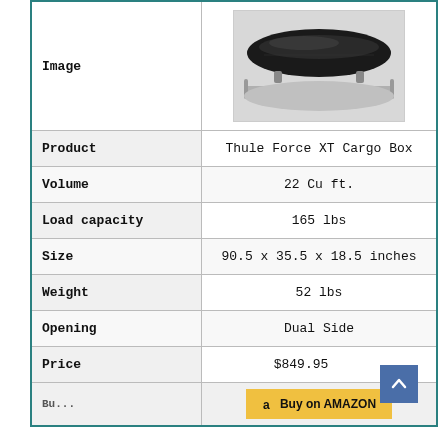|  |  |
| --- | --- |
| Image | [cargo box photo] |
| Product | Thule Force XT Cargo Box |
| Volume | 22 Cu ft. |
| Load capacity | 165 lbs |
| Size | 90.5 x 35.5 x 18.5 inches |
| Weight | 52 lbs |
| Opening | Dual Side |
| Price | $849.95 |
| [Buy on Amazon row] | Buy on AMAZON |